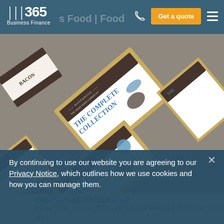365 Business Finance | Business Food | Food
[Figure (photo): Product photo showing multiple Ross & Ross Food home curing kit boxes including 'The Complete Collection' and 'XL Homemade Curing Kit Bacon' arranged flat on a surface]
www.rossandrossfood.co.uk
By continuing to use our website you are agreeing to our Privacy Notice, which outlines how we use cookies and how you can manage them.
animal feed, and the oil can be used as biodiesel after it has been used.